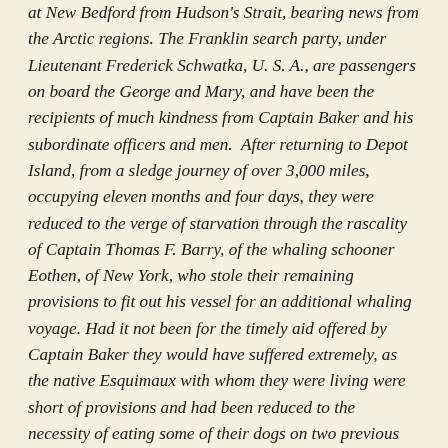at New Bedford from Hudson's Strait, bearing news from the Arctic regions. The Franklin search party, under Lieutenant Frederick Schwatka, U. S. A., are passengers on board the George and Mary, and have been the recipients of much kindness from Captain Baker and his subordinate officers and men.  After returning to Depot Island, from a sledge journey of over 3,000 miles, occupying eleven months and four days, they were reduced to the verge of starvation through the rascality of Captain Thomas F. Barry, of the whaling schooner Eothen, of New York, who stole their remaining provisions to fit out his vessel for an additional whaling voyage. Had it not been for the timely aid offered by Captain Baker they would have suffered extremely, as the native Esquimaux with whom they were living were short of provisions and had been reduced to the necessity of eating some of their dogs on two previous occasions during the winter while on King William Land and in its immediate vicinity. During the summer of 1879 Lieutenant Schwatka's party established the fact that the precious records of Sir John Franklin's expedition, which perished there in the year 1848, were entirely destroyed by the Notchillik Esquimaux, who found them in a sealed tin box, which they broke open and whose contents they scattered to the winds more than